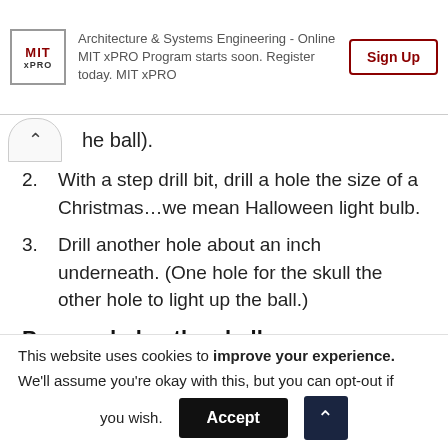Architecture & Systems Engineering - Online MIT xPRO Program starts soon. Register today. MIT xPRO | Sign Up
he ball).
2. With a step drill bit, drill a hole the size of a Christmas...we mean Halloween light bulb.
3. Drill another hole about an inch underneath. (One hole for the skull the other hole to light up the ball.)
Prep and glue the skull.
1. With a pair of scissors create a hole in the
This website uses cookies to improve your experience. We'll assume you're okay with this, but you can opt-out if you wish. Accept